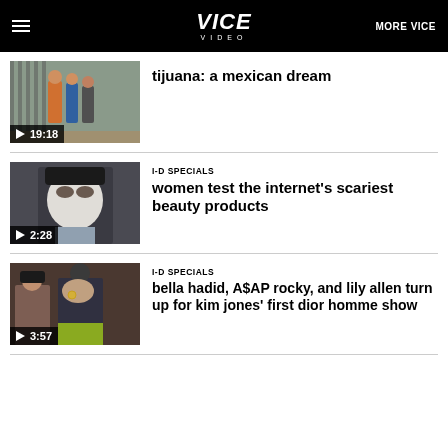VICE VIDEO | MORE VICE
[Figure (screenshot): Video thumbnail: people standing near a border fence, colorful clothing]
tijuana: a mexican dream
[Figure (screenshot): Video thumbnail: person wearing a white face mask]
I-D SPECIALS
women test the internet's scariest beauty products
[Figure (screenshot): Video thumbnail: two people, one covering face with hand]
I-D SPECIALS
bella hadid, A$AP rocky, and lily allen turn up for kim jones' first dior homme show